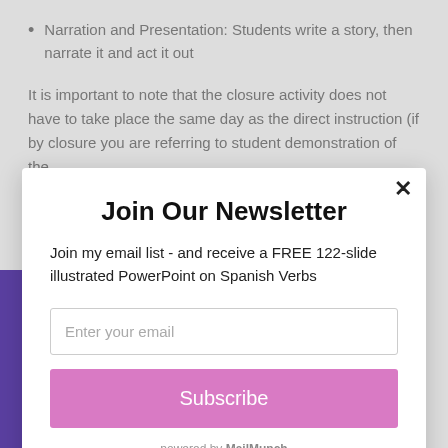Narration and Presentation: Students write a story, then narrate it and act it out
It is important to note that the closure activity does not have to take place the same day as the direct instruction (if by closure you are referring to student demonstration of the
[Figure (other): Newsletter signup modal overlay with title 'Join Our Newsletter', description text, email input field, Subscribe button, and MailMunch footer. Close button (×) in top right corner.]